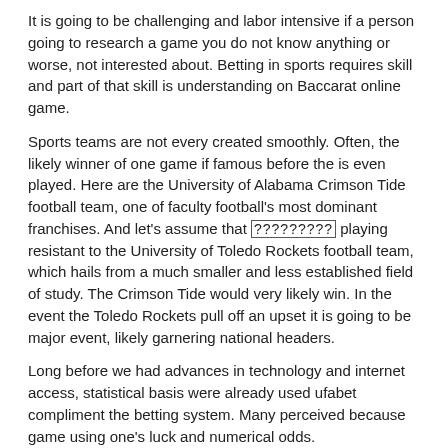It is going to be challenging and labor intensive if a person going to research a game you do not know anything or worse, not interested about. Betting in sports requires skill and part of that skill is understanding on Baccarat online game.
Sports teams are not every created smoothly. Often, the likely winner of one game if famous before the is even played. Here are the University of Alabama Crimson Tide football team, one of faculty football's most dominant franchises. And let's assume that [?????????] playing resistant to the University of Toledo Rockets football team, which hails from a much smaller and less established field of study. The Crimson Tide would very likely win. In the event the Toledo Rockets pull off an upset it is going to be major event, likely garnering national headers.
Long before we had advances in technology and internet access, statistical basis were already used ufabet compliment the betting system. Many perceived because game using one's luck and numerical odds.
One thing you can merely do things the most suitable option is to monitor you own choices in a spreadsheet and compare and contrast it with the spreadsheets a number of different betting choices. When you do that, you are able to access how a sports betting service can boost your pay by simply using information you already about simple . team and favorite exercise. It's certainly worth a try.